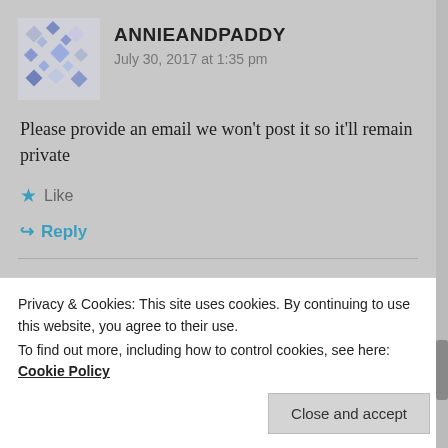[Figure (illustration): Avatar/profile image for ANNIEANDPADDY user — geometric diamond/square pattern in blue and grey]
ANNIEANDPADDY
July 30, 2017 at 1:35 pm
Please provide an email we won't post it so it'll remain private
Like
Reply
[Figure (illustration): Avatar/profile image for GILLES user — abstract pattern in orange/red tones]
GILLES
Privacy & Cookies: This site uses cookies. By continuing to use this website, you agree to their use.
To find out more, including how to control cookies, see here: Cookie Policy
Close and accept